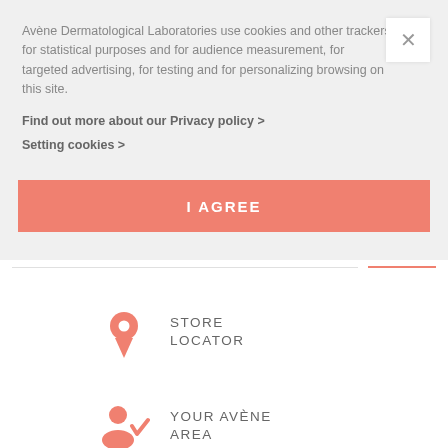Avène Dermatological Laboratories use cookies and other trackers for statistical purposes and for audience measurement, for targeted advertising, for testing and for personalizing browsing on this site.
Find out more about our Privacy policy >
Setting cookies >
I AGREE
[Figure (infographic): Store locator icon (map pin) with text STORE LOCATOR]
STORE LOCATOR
[Figure (infographic): User account icon with checkmark and text YOUR AVÈNE AREA]
YOUR AVÈNE AREA
[Figure (infographic): Envelope/mail icon with text CONTACT US]
CONTACT US